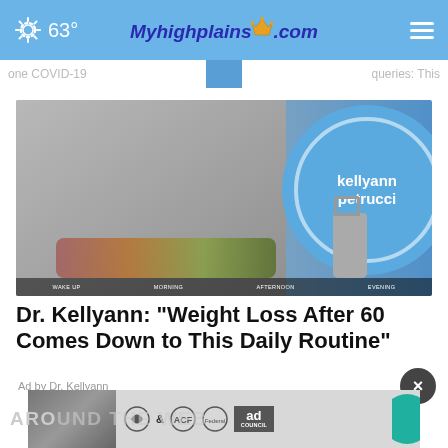63° | Myhighplains.com
[Figure (screenshot): Navigation tab strip showing partial text: 'one COVID-19' on left, highlighted center tab, 'queries: This' on right]
[Figure (photo): TV show segment photo with three women around a food/smoothie preparation table; blue backdrop reads 'kellyann petrucci'; blender and food items on table; bottom label strip shows: WAKE UP, MORNING, AFTERNOON, EVENING]
Dr. Kellyann: "Weight Loss After 60 Comes Down to This Daily Routine"
Ad by Dr. Kellyann
[Figure (screenshot): Bottom advertisement banner featuring a photo of two people, HHS logo, ACF logo with ampersand, Federal Counsel icon, and Ad Council logo box]
AROUND THE WEB